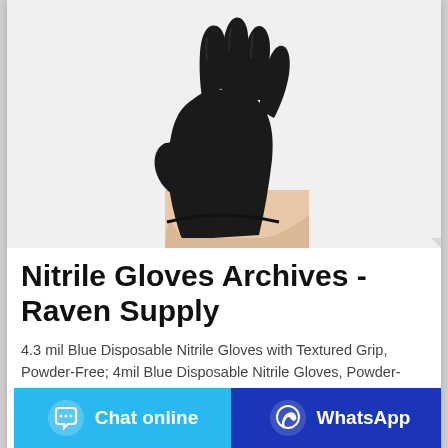[Figure (photo): A black nitrile disposable glove worn on a hand/wrist, shown against a white/light background. The glove fingers are spread open and extended upward.]
Nitrile Gloves Archives - Raven Supply
4.3 mil Blue Disposable Nitrile Gloves with Textured Grip, Powder-Free; 4mil Blue Disposable Nitrile Gloves, Powder-Free; Ansell 00-600 Disposable Nitrile Gloves...
Chat online
WhatsApp